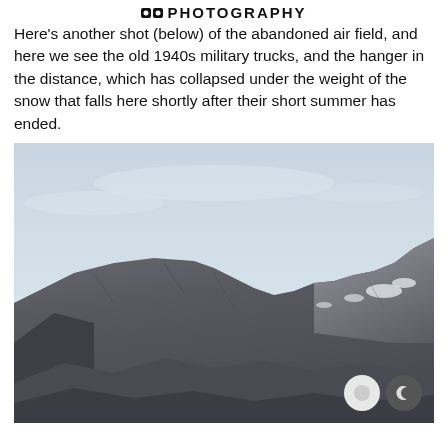PHOTOGRAPHY
Here's another shot (below) of the abandoned air field, and here we see the old 1940s military trucks, and the hanger in the distance, which has collapsed under the weight of the snow that falls here shortly after their short summer has ended.
[Figure (photo): Photograph of a rugged rocky mountain with snow patches under a pale overcast sky. The mountain dominates the lower portion of the image with steep rocky ridges and faces visible.]